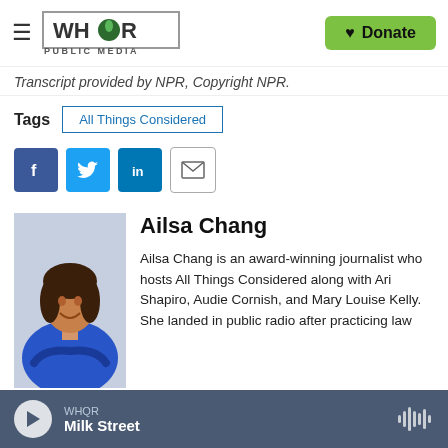WHQR PUBLIC MEDIA — Donate
Transcript provided by NPR, Copyright NPR.
Tags   All Things Considered
[Figure (infographic): Social sharing buttons: Facebook, Twitter, LinkedIn, Email]
[Figure (photo): Photo of Ailsa Chang, a woman in a blue top with arms crossed, smiling]
Ailsa Chang
Ailsa Chang is an award-winning journalist who hosts All Things Considered along with Ari Shapiro, Audie Cornish, and Mary Louise Kelly. She landed in public radio after practicing law
WHQR — Milk Street (audio player)